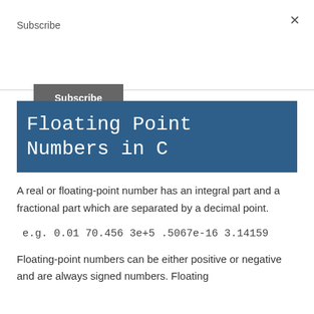Subscribe
Subscribe [button]
Floating Point Numbers in C
A real or floating-point number has an integral part and a fractional part which are separated by a decimal point.
e.g. 0.01 70.456 3e+5 .5067e-16 3.14159
Floating-point numbers can be either positive or negative and are always signed numbers. Floating